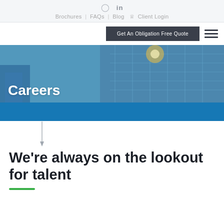Instagram  LinkedIn  |  Brochures  FAQs  Blog  Client Login
Get An Obligation Free Quote
[Figure (screenshot): Insurance company website Careers page hero banner showing a blue-tinted office building photo with 'Careers' title text overlay and a blue bar at the bottom, along with a vertical arrow divider below.]
We're always on the lookout for talent